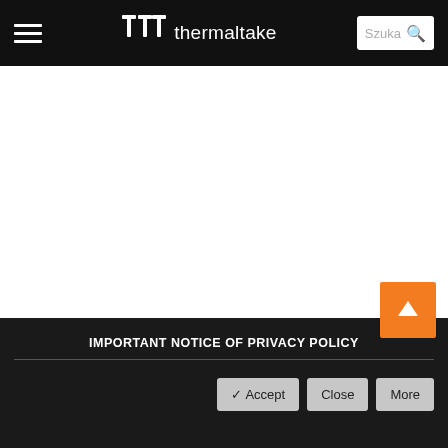thermaltake — navigation header with hamburger menu and search box
[Figure (screenshot): White product image area showing two product cards side by side (blank/white images)]
[Figure (illustration): Orange scroll-to-top button with white up arrow]
Commander C35 TG ARGB Edition
Obudowa Commander C34 TG – wersja ARGB
IMPORTANT NOTICE OF PRIVACY POLICY — Accept | Close | More